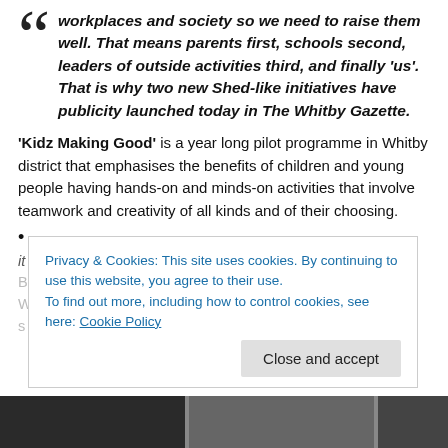workplaces and society so we need to raise them well. That means parents first, schools second, leaders of outside activities third, and finally 'us'. That is why two new Shed-like initiatives have publicity launched today in The Whitby Gazette.
'Kidz Making Good' is a year long pilot programme in Whitby district that emphasises the benefits of children and young people having hands-on and minds-on activities that involve teamwork and creativity of all kinds and of their choosing.
It was boosted by two projects in early summer that involved...
Privacy & Cookies: This site uses cookies. By continuing to use this website, you agree to their use.
To find out more, including how to control cookies, see here: Cookie Policy
Close and accept